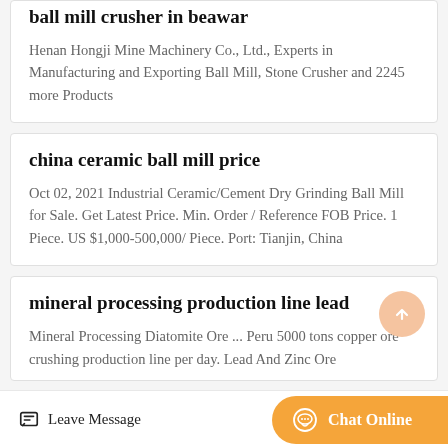ball mill crusher in beawar
Henan Hongji Mine Machinery Co., Ltd., Experts in Manufacturing and Exporting Ball Mill, Stone Crusher and 2245 more Products
china ceramic ball mill price
Oct 02, 2021 Industrial Ceramic/Cement Dry Grinding Ball Mill for Sale. Get Latest Price. Min. Order / Reference FOB Price. 1 Piece. US $1,000-500,000/ Piece. Port: Tianjin, China
mineral processing production line lead
Mineral Processing Diatomite Ore ... Peru 5000 tons copper ore crushing production line per day. Lead And Zinc Ore
Leave Message  Chat Online